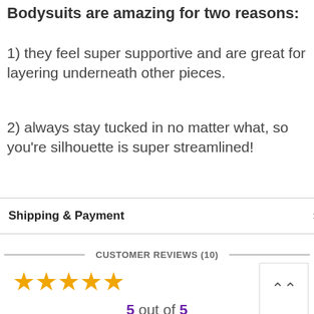Bodysuits are amazing for two reasons:
1) they feel super supportive and are great for layering underneath other pieces.
2) always stay tucked in no matter what, so you're silhouette is super streamlined!
Shipping & Payment
CUSTOMER REVIEWS (10)
5 out of 5